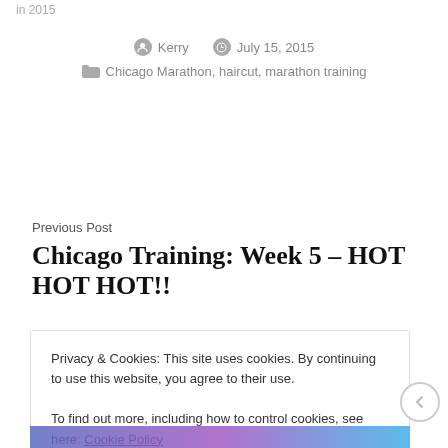in 2015
Kerry   July 15, 2015
Chicago Marathon, haircut, marathon training
Previous Post
Chicago Training: Week 5 – HOT HOT HOT!!
Privacy & Cookies: This site uses cookies. By continuing to use this website, you agree to their use.
To find out more, including how to control cookies, see here: Cookie Policy
Close and accept